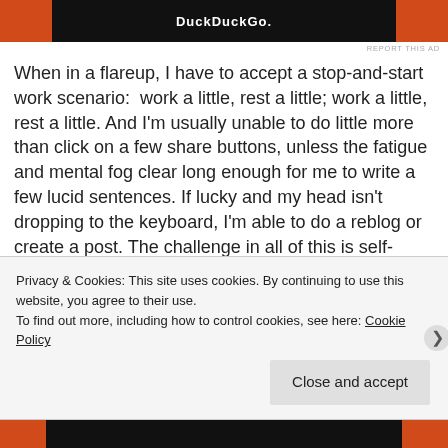[Figure (screenshot): Ad banner with DuckDuckGo branding, black background with orange side panels]
REPORT THIS AD
When in a flareup, I have to accept a stop-and-start work scenario:  work a little, rest a little; work a little, rest a little. And I'm usually unable to do little more than click on a few share buttons, unless the fatigue and mental fog clear long enough for me to write a few lucid sentences. If lucky and my head isn't dropping to the keyboard, I'm able to do a reblog or create a post. The challenge in all of this is self-acceptance and not giving in to frustration.
Privacy & Cookies: This site uses cookies. By continuing to use this website, you agree to their use.
To find out more, including how to control cookies, see here: Cookie Policy
Close and accept